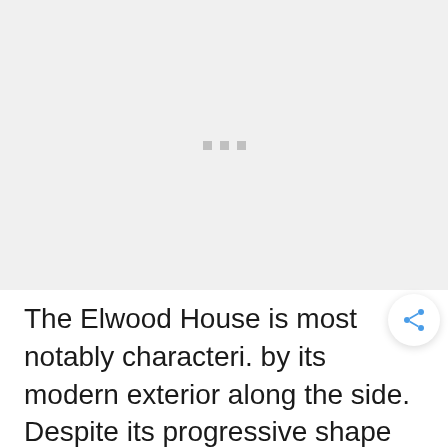[Figure (photo): Image placeholder with loading dots indicator — grey background with three small grey squares centered]
The Elwood House is most notably characteri. by its modern exterior along the side.  Despite its progressive shape and appeal, the materials are classical.  Slotted wood and simple bricks